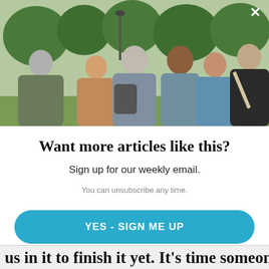[Figure (photo): Group of people talking outdoors in a park setting, with green trees in background. A close button (×) is in the top right corner.]
Want more articles like this?
Sign up for our weekly email.
You can unsubscribe any time.
YES - SIGN ME UP
NO THANKS
us in it to finish it yet. It's time someone